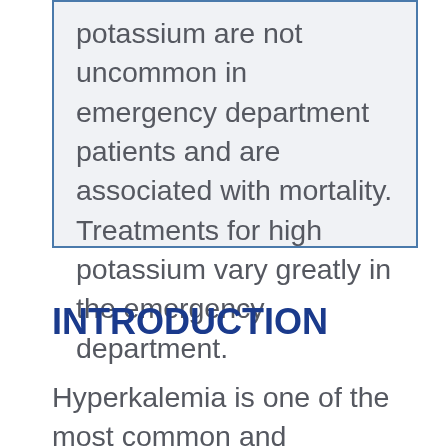potassium are not uncommon in emergency department patients and are associated with mortality. Treatments for high potassium vary greatly in the emergency department.
INTRODUCTION
Hyperkalemia is one of the most common and potentially